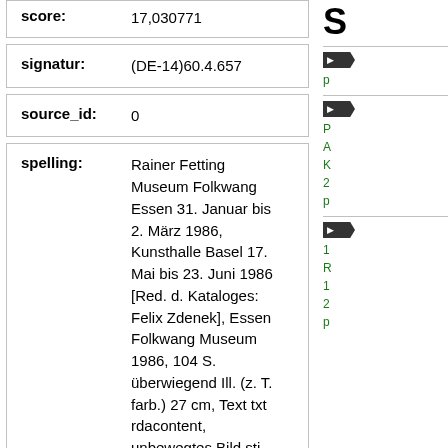| score: | 17,030771 |
| signatur: | (DE-14)60.4.657 |
| source_id: | 0 |
| spelling: | Rainer Fetting Museum Folkwang Essen 31. Januar bis 2. März 1986, Kunsthalle Basel 17. Mai bis 23. Juni 1986 [Red. d. Kataloges: Felix Zdenek], Essen Folkwang Museum 1986, 104 S. überwiegend Ill. (z. T. farb.) 27 cm, Text txt rdacontent, unbewegtes Bild sti |